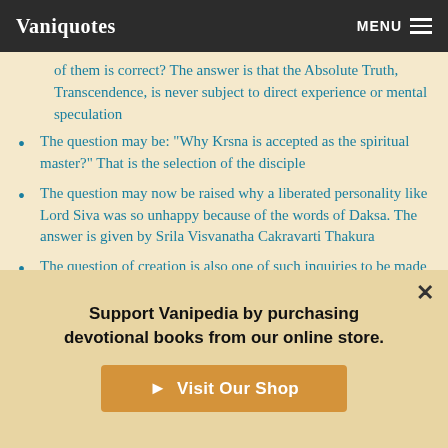Vaniquotes — MENU
of them is correct? The answer is that the Absolute Truth, Transcendence, is never subject to direct experience or mental speculation
The question may be: "Why Krsna is accepted as the spiritual master?" That is the selection of the disciple
The question may now be raised why a liberated personality like Lord Siva was so unhappy because of the words of Daksa. The answer is given by Srila Visvanatha Cakravarti Thakura
The question of creation is also one of such inquiries to be made to the right person. The spiritual master, therefore,
Support Vanipedia by purchasing devotional books from our online store.
Visit Our Shop